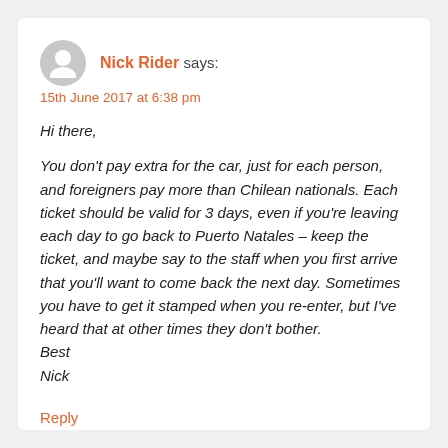Nick Rider says:
15th June 2017 at 6:38 pm
Hi there,

You don't pay extra for the car, just for each person, and foreigners pay more than Chilean nationals. Each ticket should be valid for 3 days, even if you're leaving each day to go back to Puerto Natales – keep the ticket, and maybe say to the staff when you first arrive that you'll want to come back the next day. Sometimes you have to get it stamped when you re-enter, but I've heard that at other times they don't bother.
Best
Nick
Reply